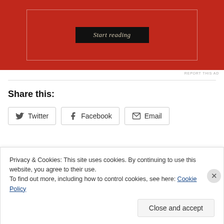[Figure (other): Advertisement banner with red background containing a 'Start reading' button in a dark box with white border]
REPORT THIS AD
Share this:
Twitter   Facebook   Email
Privacy & Cookies: This site uses cookies. By continuing to use this website, you agree to their use.
To find out more, including how to control cookies, see here: Cookie Policy
Close and accept